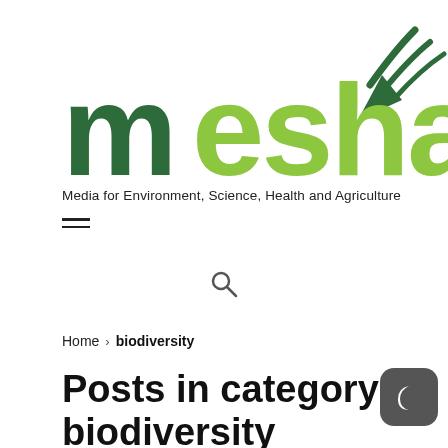[Figure (logo): MESHA logo — large green letters 'mesha' with dark green 'm' and light green 'esha', with signal/wifi arc icon in dark green top right]
Media for Environment, Science, Health and Agriculture
[Figure (other): Hamburger menu icon — three horizontal lines]
[Figure (other): Search magnifying glass icon]
Home > biodiversity
Posts in category: biodiversity